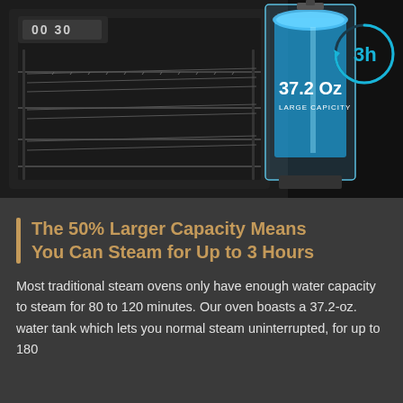[Figure (photo): Close-up product photo of a steam oven with a transparent water tank showing blue water fill. The tank displays '37.2 Oz LARGE CAPACITY' text in white. A circular timer icon showing '3h' in cyan/teal is visible in the upper right area. The oven interior with racks is visible on the left.]
The 50% Larger Capacity Means You Can Steam for Up to 3 Hours
Most traditional steam ovens only have enough water capacity to steam for 80 to 120 minutes. Our oven boasts a 37.2-oz. water tank which lets you normal steam uninterrupted, for up to 180